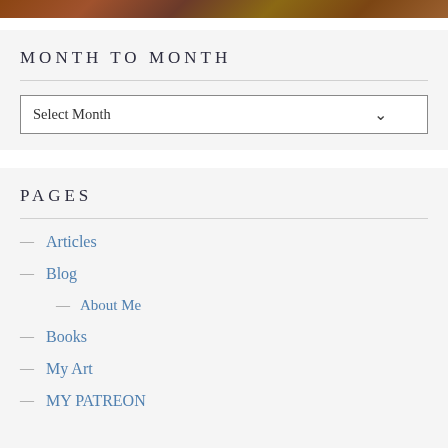[Figure (photo): Partial top strip of a painting or photograph showing warm brown, orange and earth tones]
MONTH TO MONTH
[Figure (other): Select Month dropdown widget]
PAGES
Articles
Blog
About Me
Books
My Art
MY PATREON